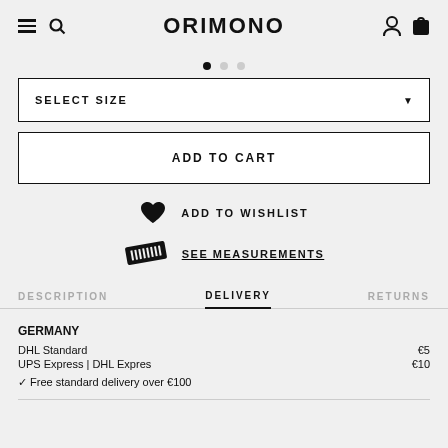ORIMONO
[Figure (other): Carousel dots: one active (filled black), two inactive (grey)]
SELECT SIZE
ADD TO CART
ADD TO WISHLIST
SEE MEASUREMENTS
DESCRIPTION   DELIVERY   RETURNS
GERMANY
DHL Standard   €5
UPS Express | DHL Expres   €10
✓ Free standard delivery over €100